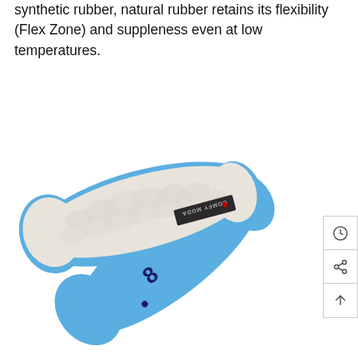synthetic rubber, natural rubber retains its flexibility (Flex Zone) and suppleness even at low temperatures.
[Figure (photo): Two shoe insoles shown crossed over each other. The top insole has a white/cream fluffy wool-like upper surface with a blue foam sole visible underneath. A dark label reading 'COMFY MODA' is visible. The bottom insole shows the blue foam sole side with the number 8 visible. The background is white.]